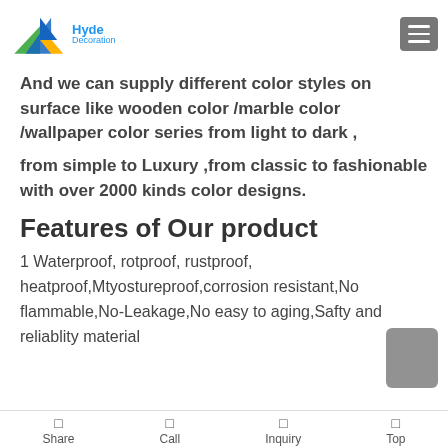Hyde Decoration logo and navigation menu
And we can supply different color styles on surface like wooden color /marble color /wallpaper color series from light to dark ,
from simple to Luxury ,from classic to fashionable with over 2000 kinds color designs.
Features of Our product
1 Waterproof, rotproof, rustproof, heatproof,Mtyostureproof,corrosion resistant,No flammable,No-Leakage,No easy to aging,Safty and reliablity material
Share  Call  Inquiry  Top